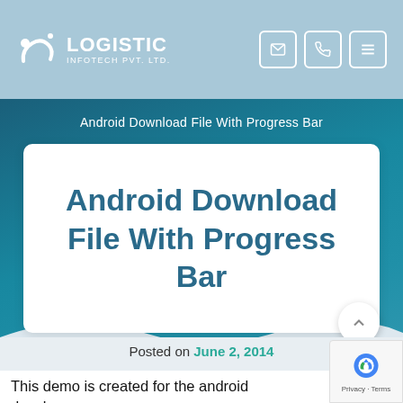LOGISTIC INFOTECH PVT. LTD.
Android Download File With Progress Bar
Android Download File With Progress Bar
Posted on June 2, 2014
This demo is created for the android developers